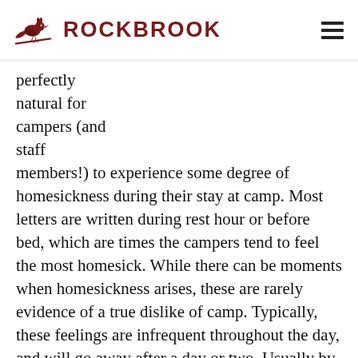ROCKBROOK
perfectly natural for campers (and staff members!) to experience some degree of homesickness during their stay at camp. Most letters are written during rest hour or before bed, which are times the campers tend to feel the most homesick. While there can be moments when homesickness arises, these are rarely evidence of a true dislike of camp. Typically, these feelings are infrequent throughout the day, and will go away after a day or two. Usually by the time you receive these letters, she will most likely be just fine